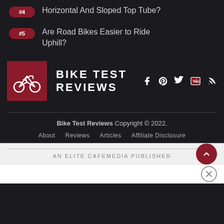#4 Horizontal And Sloped Top Tube?
#5 Are Road Bikes Easier to Ride Uphill?
[Figure (logo): Bike Test Reviews logo: dark red square with white bicycle icon, brand name BIKE TEST REVIEWS in bold white uppercase letters, with social media icons (Facebook, Pinterest, Twitter, YouTube, RSS)]
Bike Test Reviews Copyright © 2022.
About   Reviews   Articles   Affiliate Disclosure
AN ELITE CAFEMEDIA PUBLISHER